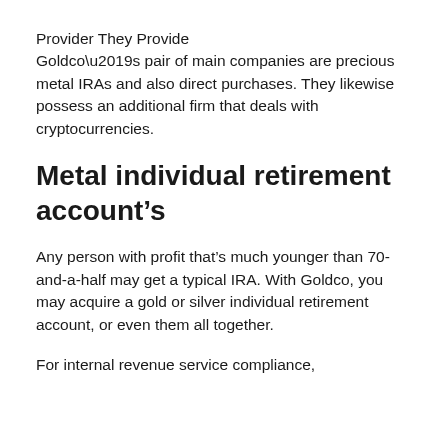Provider They Provide
Goldco’s pair of main companies are precious metal IRAs and also direct purchases. They likewise possess an additional firm that deals with cryptocurrencies.
Metal individual retirement account’s
Any person with profit that’s much younger than 70-and-a-half may get a typical IRA. With Goldco, you may acquire a gold or silver individual retirement account, or even them all together.
For internal revenue service compliance,